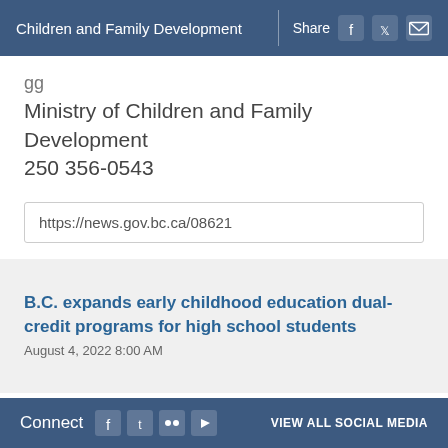Children and Family Development | Share
Ministry of Children and Family Development
250 356-0543
https://news.gov.bc.ca/08621
B.C. expands early childhood education dual-credit programs for high school students
August 4, 2022 8:00 AM
Connect  VIEW ALL SOCIAL MEDIA